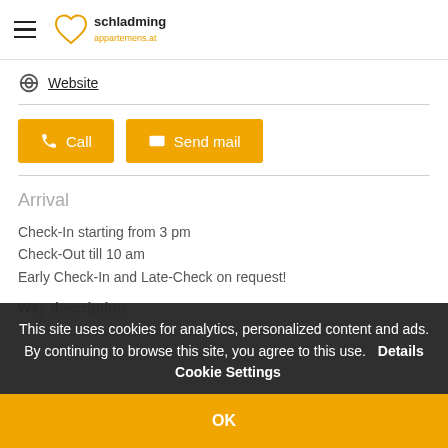schladming appartemens.at
Website
Call
Send mail
Arrival
Check-In starting from 3 pm
Check-Out till 10 am
Early Check-In and Late-Check on request!
Way description:
This site uses cookies for analytics, personalized content and ads. By continuing to browse this site, you agree to this use. Details Cookie Settings
OK